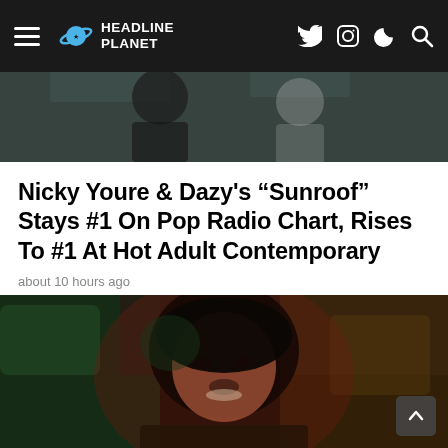HEADLINE PLANET
[Figure (photo): Top partial photo of people, cropped, showing torsos and background]
Nicky Youre & Dazy's “Sunroof” Stays #1 On Pop Radio Chart, Rises To #1 At Hot Adult Contemporary
about 10 hours ago
[Figure (photo): Close-up photo of a young man with dark hair, lit with red and green light, smiling/singing, appears to be in a music video scene]